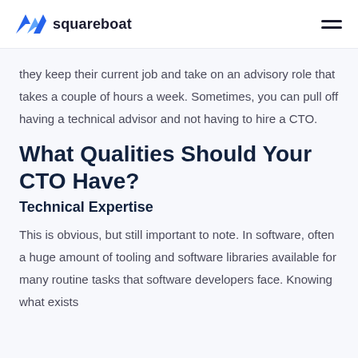squareboat
they keep their current job and take on an advisory role that takes a couple of hours a week. Sometimes, you can pull off having a technical advisor and not having to hire a CTO.
What Qualities Should Your CTO Have?
Technical Expertise
This is obvious, but still important to note. In software, often a huge amount of tooling and software libraries available for many routine tasks that software developers face. Knowing what exists